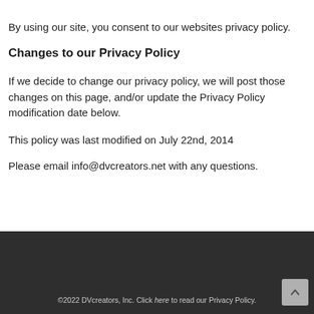By using our site, you consent to our websites privacy policy.
Changes to our Privacy Policy
If we decide to change our privacy policy, we will post those changes on this page, and/or update the Privacy Policy modification date below.
This policy was last modified on July 22nd, 2014
Please email info@dvcreators.net with any questions.
©2022 DVcreators, Inc. Click here to read our Privacy Policy.